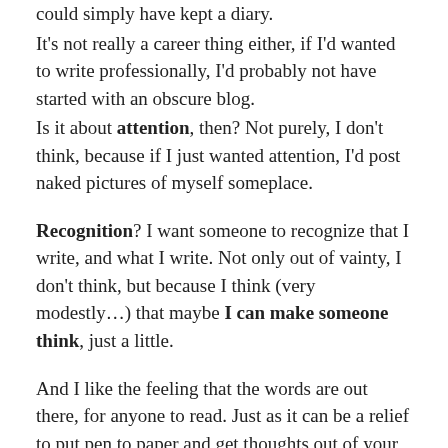could simply have kept a diary.
It's not really a career thing either, if I'd wanted to write professionally, I'd probably not have started with an obscure blog.
Is it about attention, then? Not purely, I don't think, because if I just wanted attention, I'd post naked pictures of myself someplace.
Recognition? I want someone to recognize that I write, and what I write. Not only out of vainty, I don't think, but because I think (very modestly...) that maybe I can make someone think, just a little.
And I like the feeling that the words are out there, for anyone to read. Just as it can be a relief to put pen to paper and get thoughts out of your head, knowing that someone can read them and observe them is gratifying.